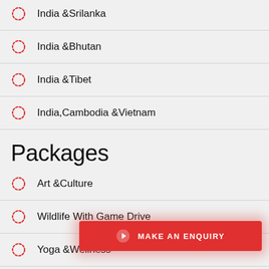India & Srilanka
India & Bhutan
India & Tibet
India, Cambodia & Vietnam
Packages
Art & Culture
Wildlife With Game Drive
Yoga & Wellness
Food & Culinary
MAKE AN ENQUIRY